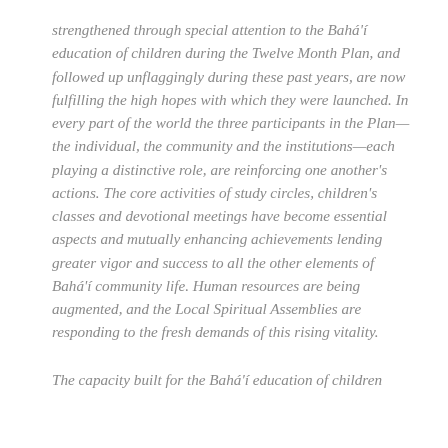strengthened through special attention to the Bahá'í education of children during the Twelve Month Plan, and followed up unflaggingly during these past years, are now fulfilling the high hopes with which they were launched. In every part of the world the three participants in the Plan—the individual, the community and the institutions—each playing a distinctive role, are reinforcing one another's actions. The core activities of study circles, children's classes and devotional meetings have become essential aspects and mutually enhancing achievements lending greater vigor and success to all the other elements of Bahá'í community life. Human resources are being augmented, and the Local Spiritual Assemblies are responding to the fresh demands of this rising vitality.
The capacity built for the Bahá'í education of children